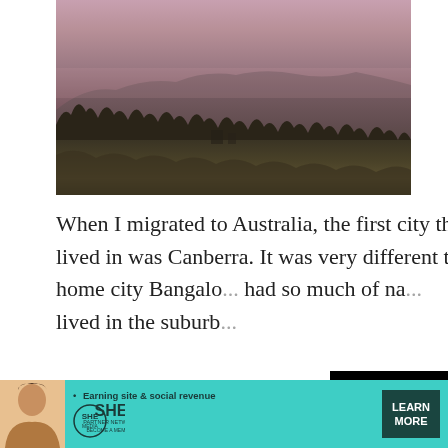[Figure (photo): Landscape photo of Australian bushland at dusk/sunset showing silhouetted trees against a pink-purple sky with mountains in the background]
When I migrated to Australia, the first city that I lived in was Canberra. It was very different to my home city Bangalo... had so much of na... lived in the suburb...
[Figure (screenshot): Video player overlay showing a black video player with loading spinner, timestamp 13:52, closed captions button, grid view button, fullscreen button, and X close button]
Privacy & Cookies: This si... website, you agree to their... To find out more, including... Policy
[Figure (infographic): SHE Partner Network advertisement banner in teal/turquoise color with woman photo, text 'Earning site & social revenue', SHE logo, and LEARN MORE button]